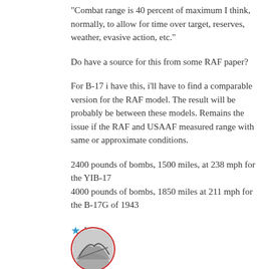“Combat range is 40 percent of maximum I think, normally, to allow for time over target, reserves, weather, evasive action, etc.”
Do have a source for this from some RAF paper?
For B-17 i have this, i’ll have to find a comparable version for the RAF model. The result will be probably be between these models. Remains the issue if the RAF and USAAF measured range with same or approximate conditions.
2400 pounds of bombs, 1500 miles, at 238 mph for the YIB-17
4000 pounds of bombs, 1850 miles at 211 mph for the B-17G of 1943
★ Like
Reply
[Figure (photo): Partial circular avatar image with red border showing an aircraft silhouette]